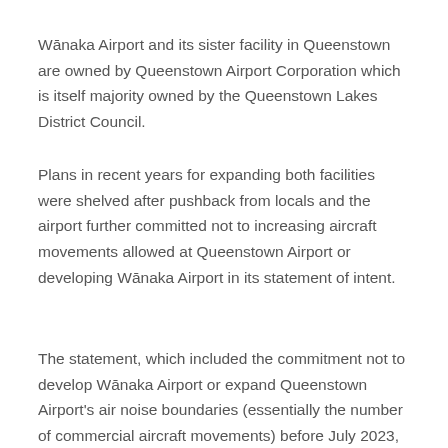Wānaka Airport and its sister facility in Queenstown are owned by Queenstown Airport Corporation which is itself majority owned by the Queenstown Lakes District Council.
Plans in recent years for expanding both facilities were shelved after pushback from locals and the airport further committed not to increasing aircraft movements allowed at Queenstown Airport or developing Wānaka Airport in its statement of intent.
The statement, which included the commitment not to develop Wānaka Airport or expand Queenstown Airport's air noise boundaries (essentially the number of commercial aircraft movements) before July 2023, went to the Queenstown Lakes District Council last week where the statement was accepted by a majority of councillors.